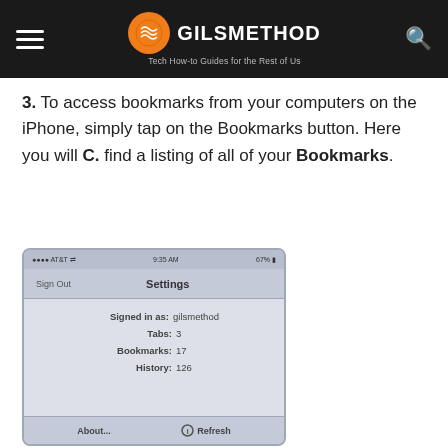GILSMETHOD — Tech How-to Guides for the Rest of Us
3. To access bookmarks from your computers on the iPhone, simply tap on the Bookmarks button. Here you will C. find a listing of all of your Bookmarks.
[Figure (screenshot): iPhone Settings screen showing iCloud sync info: Signed in as: gilsmethod, Tabs: 3, Bookmarks: 17, History: 126. Navigation bar with Sign Out and Settings title. Bottom bar with About... and Refresh buttons.]